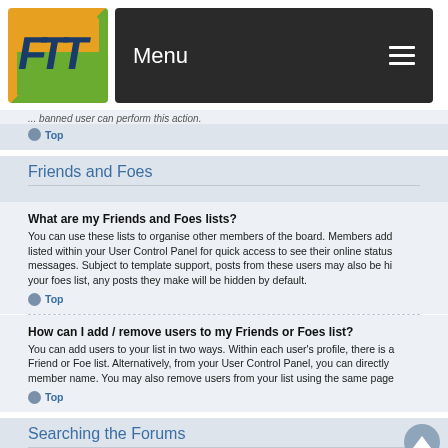[Figure (logo): Forum software logo with stylized letters on orange and green background]
Menu
...banned user can perform this action.
Top
Friends and Foes
What are my Friends and Foes lists?
You can use these lists to organise other members of the board. Members added to your friends list will be listed within your User Control Panel for quick access to see their online status and to send them private messages. Subject to template support, posts from these users may also be highlighted. If you add a user to your foes list, any posts they make will be hidden by default.
Top
How can I add / remove users to my Friends or Foes list?
You can add users to your list in two ways. Within each user's profile, there is a link to add them to either your Friend or Foe list. Alternatively, from your User Control Panel, you can directly add users by entering their member name. You may also remove users from your list using the same page.
Top
Searching the Forums
How can I search a forum or forums?